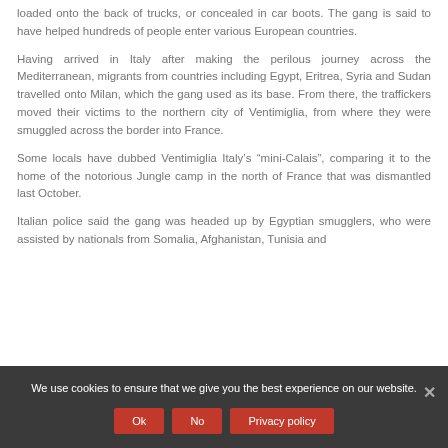loaded onto the back of trucks, or concealed in car boots. The gang is said to have helped hundreds of people enter various European countries.
Having arrived in Italy after making the perilous journey across the Mediterranean, migrants from countries including Egypt, Eritrea, Syria and Sudan travelled onto Milan, which the gang used as its base. From there, the traffickers moved their victims to the northern city of Ventimiglia, from where they were smuggled across the border into France.
Some locals have dubbed Ventimiglia Italy's “mini-Calais”, comparing it to the home of the notorious Jungle camp in the north of France that was dismantled last October.
Italian police said the gang was headed up by Egyptian smugglers, who were assisted by nationals from Somalia, Afghanistan, Tunisia and
We use cookies to ensure that we give you the best experience on our website.
Ok  No  Privacy policy